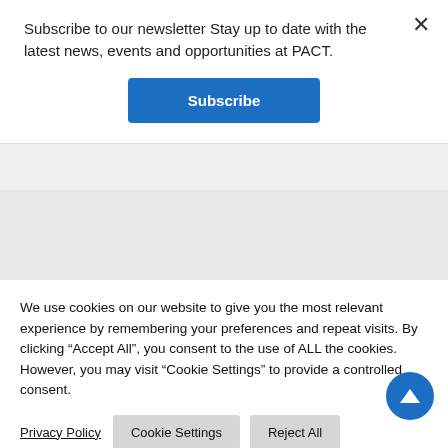Subscribe to our newsletter Stay up to date with the latest news, events and opportunities at PACT.
[Figure (screenshot): Blue Subscribe button]
[Figure (screenshot): Gray background with partial spinner circle and vertical bar — background website page partially visible]
We use cookies on our website to give you the most relevant experience by remembering your preferences and repeat visits. By clicking “Accept All”, you consent to the use of ALL the cookies. However, you may visit "Cookie Settings" to provide a controlled consent.
Privacy Policy
Cookie Settings
Reject All
Accept All